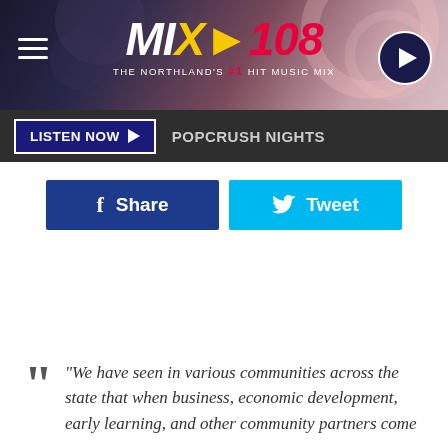[Figure (logo): MIX 108 radio station header with logo, hamburger menu, and play button on decorative background]
LISTEN NOW   POPCRUSH NIGHTS
Share
Tweet
"We have seen in various communities across the state that when business, economic development, early learning, and other community partners come